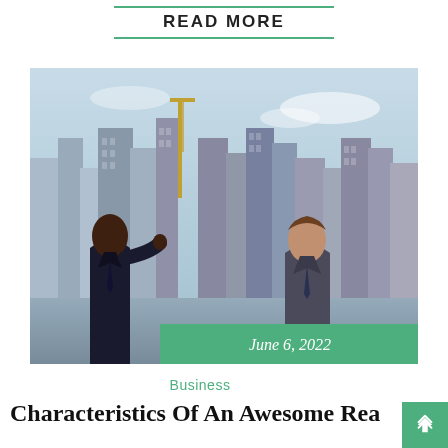READ MORE
[Figure (photo): Two businessmen in suits having a conversation on a rooftop with a city skyline in the background. A green overlay band at the bottom shows the date June 6, 2022.]
June 6, 2022
Business
Characteristics Of An Awesome Rea…